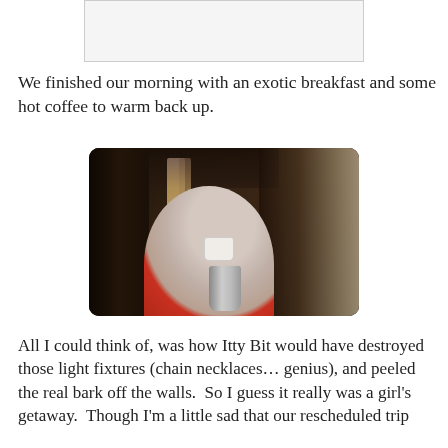[Figure (photo): A blank/white rectangular image placeholder at the top of the page]
We finished our morning with an exotic breakfast and some hot coffee to warm back up.
[Figure (photo): An elderly woman with white hair wearing a red sweater, drinking from a white cup at a restaurant table. There are hanging metallic chain-like light fixtures in the background and dark curtains. A silver coffee pitcher is on the table.]
All I could think of, was how Itty Bit would have destroyed those light fixtures (chain necklaces… genius), and peeled the real bark off the walls.  So I guess it really was a girl's getaway.  Though I'm a little sad that our rescheduled trip